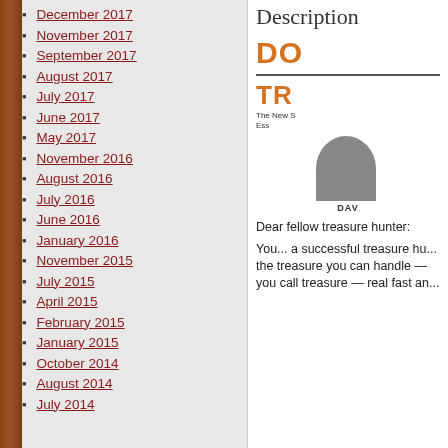December 2017
November 2017
September 2017
August 2017
July 2017
June 2017
May 2017
November 2016
August 2016
July 2016
June 2016
January 2016
November 2015
July 2015
April 2015
February 2015
January 2015
October 2014
August 2014
July 2014
Description
Dear fellow treasure hunter:
You... a successful treasure hu... the treasure you can handle — you call treasure — real fast an... ...duction in life...